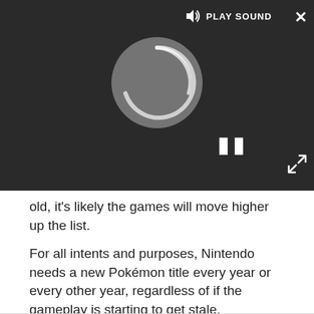[Figure (screenshot): Video player overlay with dark background showing a loading spinner, pause button, play sound button at top, close (X) button at top right, and expand button at bottom right.]
old, it's likely the games will move higher up the list.
For all intents and purposes, Nintendo needs a new Pokémon title every year or every other year, regardless of if the gameplay is starting to get stale.
More: Pokémon Sword and Shield differences: Which version should you buy?
Today's best Nintendo Pokemon Sword deals
REDUCED PRICE